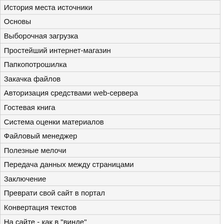| История места источники |
| Основы |
| Выборочная загрузка |
| Простейший интернет-магазин |
| Папкопотрошилка |
| Закачка файлов |
| Авторизация средствами web-сервера |
| Гостевая книга |
| Система оценки материалов |
| Файловый менеджер |
| Полезные мелочи |
| Передача данных между страницами |
| Заключение |
| Преврати свой сайт в портал |
| Конвертация текстов |
| На сайте - как в "винде" |
| Лекции по информатике |
| В каком виде существует информация |
| Что такое файловая система ОС |
| Основы правовой информатики |
| Связь правовой информатики с науками |
| Информатизация Прокуратуры |